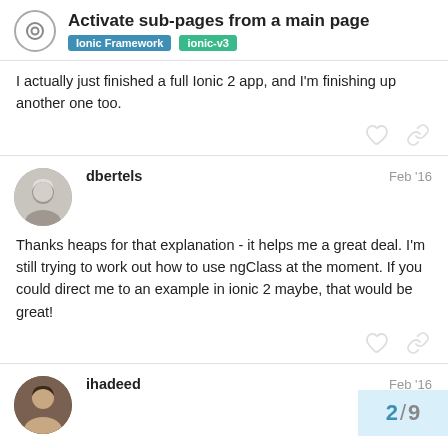Activate sub-pages from a main page — Ionic Framework, ionic-v3
I actually just finished a full Ionic 2 app, and I'm finishing up another one too.
dbertels — Feb '16
Thanks heaps for that explanation - it helps me a great deal. I'm still trying to work out how to use ngClass at the moment. If you could direct me to an example in ionic 2 maybe, that would be great!
ihadeed — Feb '16
2/9